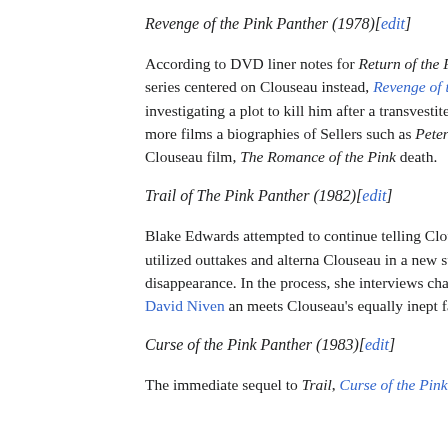Revenge of the Pink Panther (1978)[edit]
According to DVD liner notes for Return of the Pink Panther, Sellers planned to produce a British television series centered on Clouseau instead, Revenge of the Pink Panther, which ignores Dreyfus' "death" has Clouseau investigating a plot to kill him after a transvestite crim. The movie was a box office success and led to several more films a biographies of Sellers such as Peter Sellers—A Celebration reveal t pre-production of another Clouseau film, The Romance of the Pink death.
Trail of The Pink Panther (1982)[edit]
Blake Edwards attempted to continue telling Clouseau's story despi. The 1982 film Trail of the Pink Panther utilized outtakes and alterna Clouseau in a new storyline in which a reporter (played by Joanna L Clouseau's disappearance. In the process, she interviews character films (including the Lyttons, played by the returning David Niven and meets Clouseau's equally inept father (played by Richard Mulligan).
Curse of the Pink Panther (1983)[edit]
The immediate sequel to Trail, Curse of the Pink Panther, reveals th